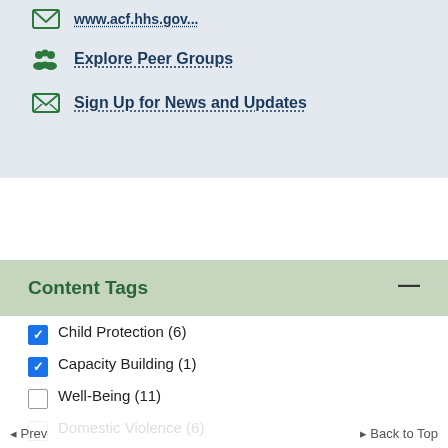Explore Peer Groups
Sign Up for News and Updates
Content Tags
Child Protection (6)
Capacity Building (1)
Well-Being (11)
Domestic Violence (6)
Domestic Violence & the Child Welfare Professional: Series (6)